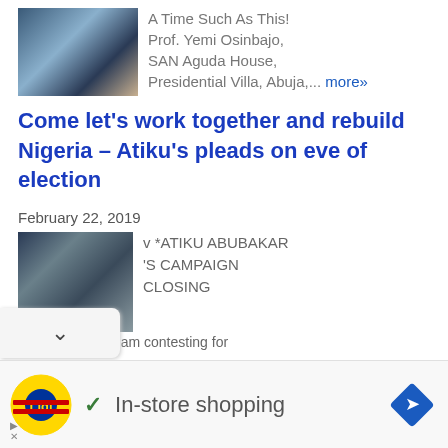A Time Such As This! Prof. Yemi Osinbajo, SAN Aguda House, Presidential Villa, Abuja,... more»
Come let's work together and rebuild Nigeria – Atiku's pleads on eve of election
February 22, 2019
v *ATIKU ABUBAKAR'S CAMPAIGN CLOSING
SPEECH*Why I am contesting for
[Figure (photo): Thumbnail photo showing people in academic regalia]
[Figure (photo): Thumbnail photo of Atiku Abubakar campaign]
[Figure (logo): Lidl logo]
✓ In-store shopping